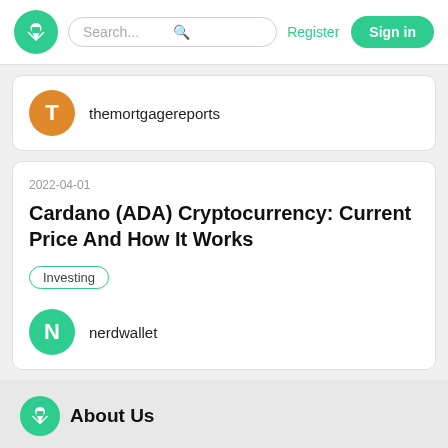Ratesfeed — Search... Register Sign in
themortgagereports
2022-04-01
Cardano (ADA) Cryptocurrency: Current Price And How It Works
Investing
nerdwallet
About Us
Ratesfeed connects the key players in the world of finances. We facilitate the connection between financial